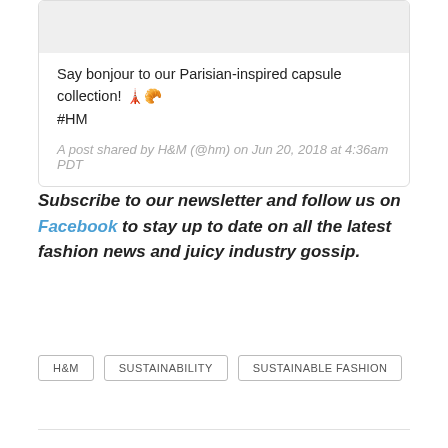Say bonjour to our Parisian-inspired capsule collection! 🗼🥐
#HM
A post shared by H&M (@hm) on Jun 20, 2018 at 4:36am PDT
Subscribe to our newsletter and follow us on Facebook to stay up to date on all the latest fashion news and juicy industry gossip.
H&M
SUSTAINABILITY
SUSTAINABLE FASHION